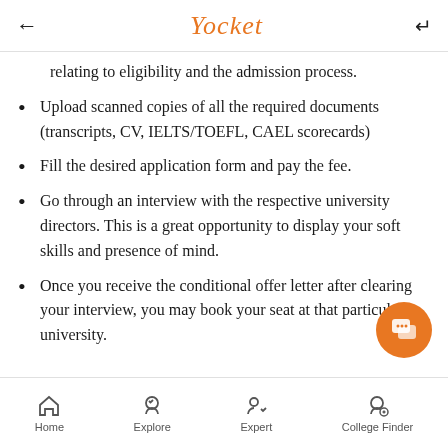Yocket
relating to eligibility and the admission process.
Upload scanned copies of all the required documents (transcripts, CV, IELTS/TOEFL, CAEL scorecards)
Fill the desired application form and pay the fee.
Go through an interview with the respective university directors. This is a great opportunity to display your soft skills and presence of mind.
Once you receive the conditional offer letter after clearing your interview, you may book your seat at that particular university.
Home  Explore  Expert  College Finder